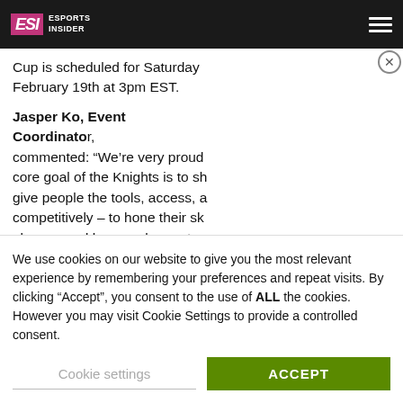ESI Esports Insider
Cup is scheduled for Saturday February 19th at 3pm EST.
Jasper Ko, Event Coordinator, commented: “We’re very proud… core goal of the Knights is to sh… give people the tools, access, a… competitively – to hone their sk… players, and have a chance to be seen by top teams.”
[Figure (screenshot): Video player overlay showing a dark blue/purple scene with a play button triangle in the center and a close (X) button in the top right corner.]
The Knights’ Sakura Cup, a women’s VALORANT tournament that launched in 2021, will be back every other month this year, with the first event taking place on February 15th.
We use cookies on our website to give you the most relevant experience by remembering your preferences and repeat visits. By clicking “Accept”, you consent to the use of ALL the cookies. However you may visit Cookie Settings to provide a controlled consent.